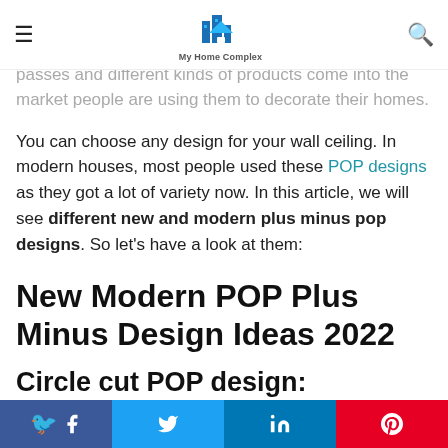My Home Complex — navigation bar with hamburger menu, logo, and search icon
POP was also used in outdoor places like shops, offices, and other commercial areas. But as time passes and different kinds of products come into the market people are using them to decorate their homes.
You can choose any design for your wall ceiling. In modern houses, most people used these POP designs as they got a lot of variety now. In this article, we will see different new and modern plus minus pop designs. So let's have a look at them:
New Modern POP Plus Minus Design Ideas 2022
Circle cut POP design:
Facebook Twitter LinkedIn Pinterest social share buttons